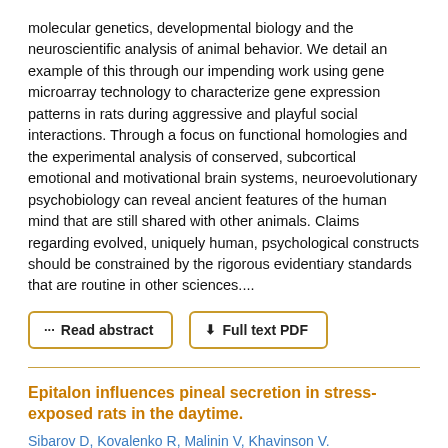molecular genetics, developmental biology and the neuroscientific analysis of animal behavior. We detail an example of this through our impending work using gene microarray technology to characterize gene expression patterns in rats during aggressive and playful social interactions. Through a focus on functional homologies and the experimental analysis of conserved, subcortical emotional and motivational brain systems, neuroevolutionary psychobiology can reveal ancient features of the human mind that are still shared with other animals. Claims regarding evolved, uniquely human, psychological constructs should be constrained by the rigorous evidentiary standards that are routine in other sciences....
Read abstract | Full text PDF
Epitalon influences pineal secretion in stress-exposed rats in the daytime.
Sibarov D, Kovalenko R, Malinin V, Khavinson V.
Journal Article